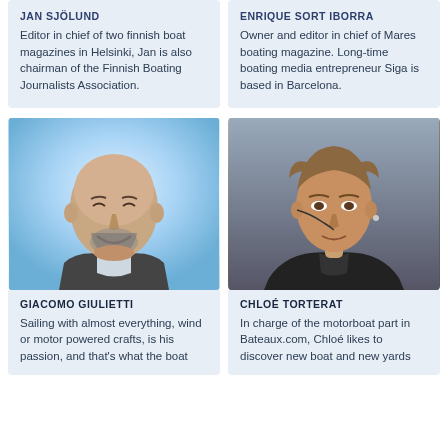JAN SJÖLUND — Editor in chief of two finnish boat magazines in Helsinki, Jan is also chairman of the Finnish Boating Journalists Association.
ENRIQUE SORT IBORRA — Owner and editor in chief of Mares boating magazine. Long-time boating media entrepreneur Siga is based in Barcelona.
[Figure (photo): Black and white photo of Giacomo Giulietti, a bald smiling man with a beard, wearing a suit, set against a blue gradient background.]
[Figure (photo): Color photo of Chloé Torterat, a woman with hair pulled back, wearing a dark jacket, looking to the side outdoors.]
GIACOMO GIULIETTI — Sailing with almost everything, wind or motor powered crafts, is his passion, and that's what the boat...
CHLOÉ TORTERAT — In charge of the motorboat part in Bateaux.com, Chloé likes to discover new boat and new yards...